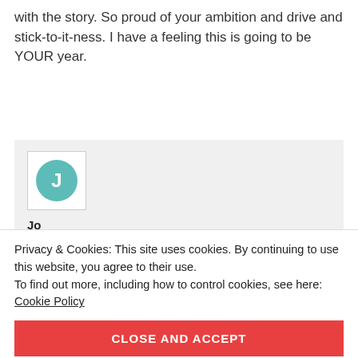with the story. So proud of your ambition and drive and stick-to-it-ness. I have a feeling this is going to be YOUR year.
Jo
January 24, 2022 at 6:17 am
Privacy & Cookies: This site uses cookies. By continuing to use this website, you agree to their use.
To find out more, including how to control cookies, see here: Cookie Policy
CLOSE AND ACCEPT